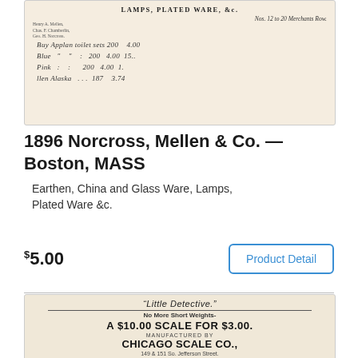[Figure (photo): Scanned handwritten receipt for Lamps, Plated Ware &c., Nos. 12 to 20 Merchants Row, with handwritten cursive entries listing items and prices.]
1896 Norcross, Mellen & Co. — Boston, MASS
Earthen, China and Glass Ware, Lamps, Plated Ware &c.
$5.00
[Figure (photo): Scanned advertisement for 'The Little Detective' scale. No More Short Weights. A $10.00 Scale for $3.00. Manufactured by Chicago Scale Co., 149 & 151 So. Jefferson Street, Chicago, Ill.]